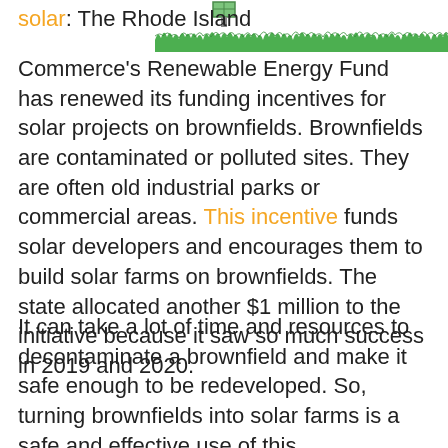[Figure (illustration): Illustration of a solar panel standing in a field of green grass, with a small solar panel icon visible above the grass line.]
solar: The Rhode Island Commerce's Renewable Energy Fund has renewed its funding incentives for solar projects on brownfields. Brownfields are contaminated or polluted sites. They are often old industrial parks or commercial areas. This incentive funds solar developers and encourages them to build solar farms on brownfields. The state allocated another $1 million to the initiative because it saw so much success in 2019 and 2020.
It can take a lot of time and resources to decontaminate a brownfield and make it safe enough to be redeveloped. So, turning brownfields into solar farms is a safe and effective use of this contaminated land. Additionally, since Rhode Island is such a small state, using brownfields are a perfect way to install more solar power without cutting down trees or damaging any other environments. This